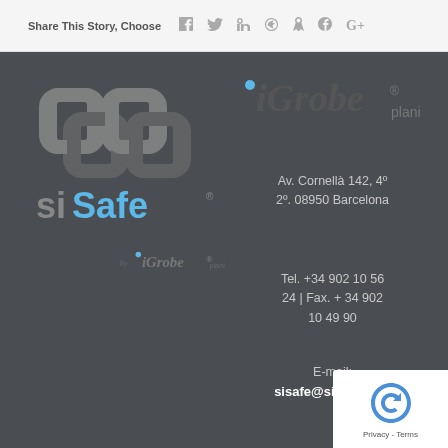Share This Story, Choose Your Platform!
[Figure (logo): SiSafe logo with interlocking chain links graphic in grey, text 'siSafe' with blue 'S', and iGrobe plani sub-logo below]
[Figure (logo): iGrobe plani logo in dark grey/black text on dark background, top right]
Av. Cornellà 142, 4º 2º. 08950 Barcelona
Tel.  +34 902 10 56 24 | Fax. + 34 902 10 49 90
E-mail:
sisafe@sisafe.tech
www.sis...
[Figure (logo): Google reCAPTCHA badge with circular arrow logo and Privacy - Terms text]